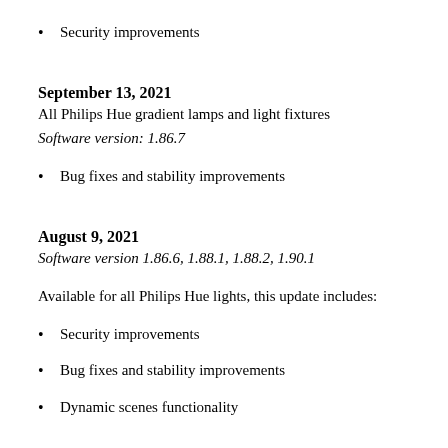Security improvements
September 13, 2021
All Philips Hue gradient lamps and light fixtures
Software version: 1.86.7
Bug fixes and stability improvements
August 9, 2021
Software version 1.86.6, 1.88.1, 1.88.2, 1.90.1
Available for all Philips Hue lights, this update includes:
Security improvements
Bug fixes and stability improvements
Dynamic scenes functionality